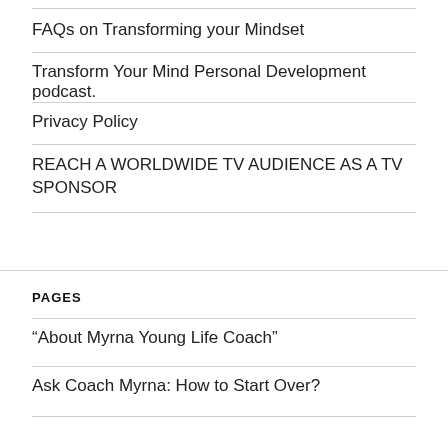FAQs on Transforming your Mindset
Transform Your Mind Personal Development podcast.
Privacy Policy
REACH A WORLDWIDE TV AUDIENCE AS A TV SPONSOR
PAGES
“About Myrna Young Life Coach”
Ask Coach Myrna: How to Start Over?